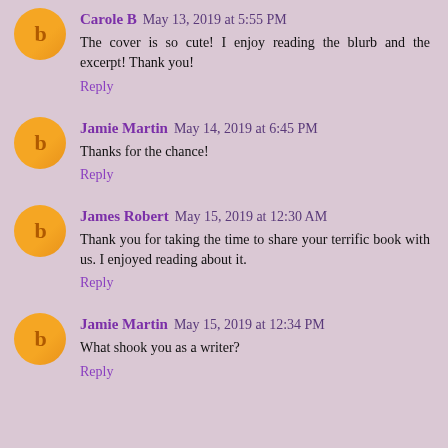Carole B May 13, 2019 at 5:55 PM
The cover is so cute! I enjoy reading the blurb and the excerpt! Thank you!
Reply
Jamie Martin May 14, 2019 at 6:45 PM
Thanks for the chance!
Reply
James Robert May 15, 2019 at 12:30 AM
Thank you for taking the time to share your terrific book with us. I enjoyed reading about it.
Reply
Jamie Martin May 15, 2019 at 12:34 PM
What shook you as a writer?
Reply